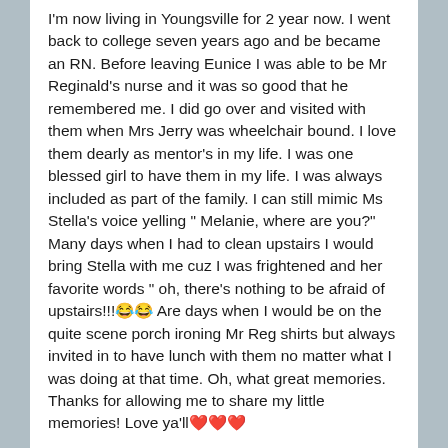I'm now living in Youngsville for 2 year now. I went back to college seven years ago and be became an RN. Before leaving Eunice I was able to be Mr Reginald's nurse and it was so good that he remembered me. I did go over and visited with them when Mrs Jerry was wheelchair bound. I love them dearly as mentor's in my life. I was one blessed girl to have them in my life. I was always included as part of the family. I can still mimic Ms Stella's voice yelling " Melanie, where are you?" Many days when I had to clean upstairs I would bring Stella with me cuz I was frightened and her favorite words " oh, there's nothing to be afraid of upstairs!!!😂😂 Are days when I would be on the quite scene porch ironing Mr Reg shirts but always invited in to have lunch with them no matter what I was doing at that time. Oh, what great memories. Thanks for allowing me to share my little memories! Love ya'll❤️❤️❤️